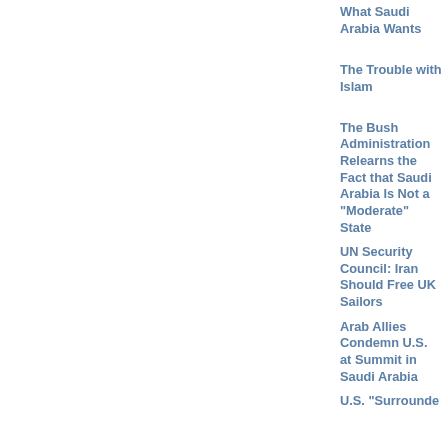What Saudi Arabia Wants | 2007 April 04
The Trouble with Islam | 2007 April 04
The Bush Administration Relearns the Fact that Saudi Arabia Is Not a "Moderate" State | 2007 April 02
UN Security Council: Iran Should Free UK Sailors | 2007 March 30
Arab Allies Condemn U.S. at Summit in Saudi Arabia | 2007 March 30
U.S. "Surrounded"...